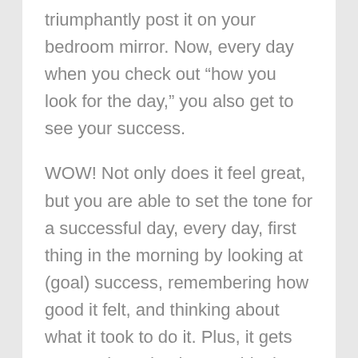triumphantly post it on your bedroom mirror. Now, every day when you check out “how you look for the day,” you also get to see your success.
WOW! Not only does it feel great, but you are able to set the tone for a successful day, every day, first thing in the morning by looking at (goal) success, remembering how good it felt, and thinking about what it took to do it. Plus, it gets you motivated to keep achieving more.